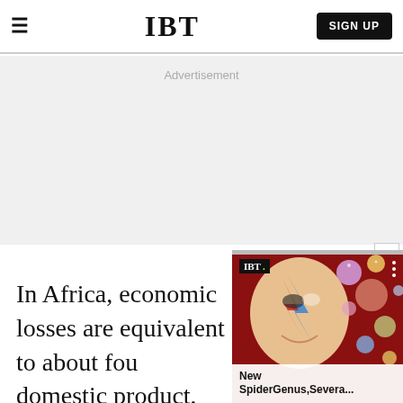IBT
Advertisement
In Africa, economic losses are equivalent to about four domestic product, while in percent.
[Figure (screenshot): IBT video widget overlay showing a colorful face painting image with caption 'New SpiderGenus,Severa...']